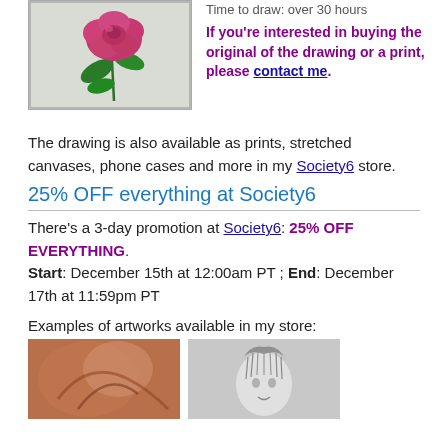[Figure (illustration): A pink/red rose with green leaves, botanical illustration style, framed with a border.]
Time to draw: over 30 hours
If you're interested in buying the original of the drawing or a print, please contact me.
The drawing is also available as prints, stretched canvases, phone cases and more in my Society6 store.
25% OFF everything at Society6
There's a 3-day promotion at Society6: 25% OFF EVERYTHING. Start: December 15th at 12:00am PT ; End: December 17th at 11:59pm PT
Examples of artworks available in my store:
[Figure (photo): A reddish-orange anatomical or muscle illustration.]
[Figure (photo): A black and white pencil portrait of a person with styled hair.]